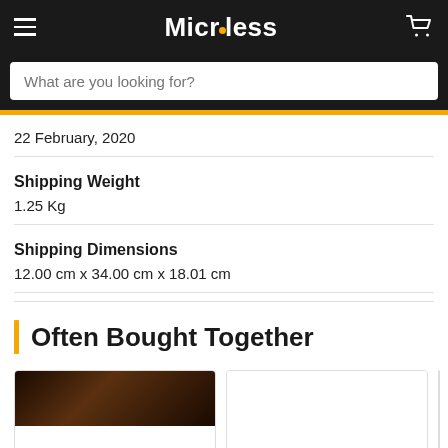Microless
22 February, 2020
Shipping Weight
1.25 Kg
Shipping Dimensions
12.00 cm x 34.00 cm x 18.01 cm
Often Bought Together
[Figure (photo): Product cards for 'Often Bought Together' section showing two product thumbnails and a partial third card with green button]